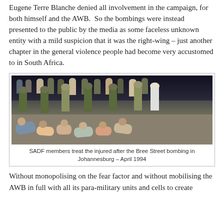Eugene Terre Blanche denied all involvement in the campaign, for both himself and the AWB. So the bombings were instead presented to the public by the media as some faceless unknown entity with a mild suspicion that it was the right-wing – just another chapter in the general violence people had become very accustomed to in South Africa.
[Figure (photo): Black and white/colour photograph showing SADF members treating injured people lying on the ground after the Bree Street bombing in Johannesburg, April 1994. Several people are seated or lying on the ground while soldiers and medics in uniform attend to them.]
SADF members treat the injured after the Bree Street bombing in Johannesburg – April 1994
Without monopolising on the fear factor and without mobilising the AWB in full with all its para-military units and cells to create